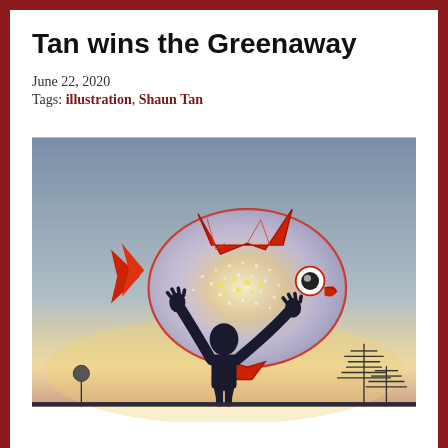Tan wins the Greenaway
June 22, 2020
Tags: illustration, Shaun Tan
[Figure (illustration): Illustration of a silhouetted child holding up a large, glittering fish with red fins against a twilight sky with antennas in the background. The fish has an iridescent, sparkly body and a cartoonish eye. Artwork by Shaun Tan.]